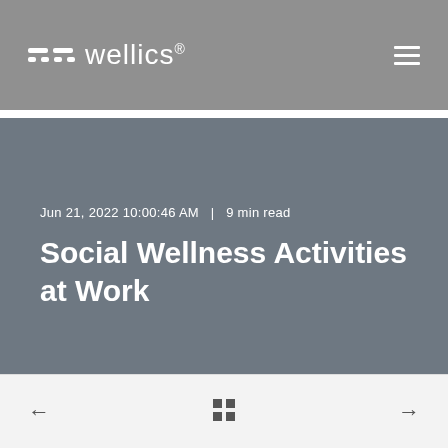wellics
Jun 21, 2022 10:00:46 AM  |  9 min read
Social Wellness Activities at Work